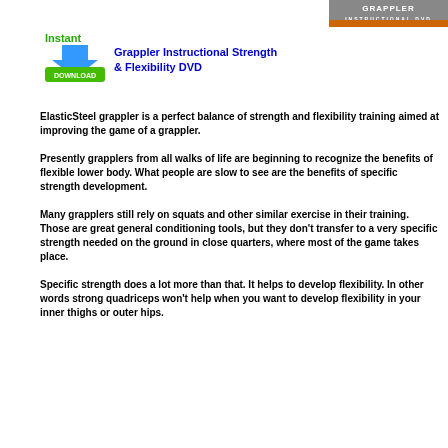[Figure (logo): Grappler Instructional DVD logo — grey/orange banner with white text]
[Figure (illustration): Instant Download button icon — green download button with blue arrow]
Grappler Instructional Strength & Flexibility DVD
ElasticSteel grappler is a perfect balance of strength and flexibility training aimed at improving the game of a grappler.
Presently grapplers from all walks of life are beginning to recognize the benefits of flexible lower body. What people are slow to see are the benefits of specific strength development.
Many grapplers still rely on squats and other similar exercise in their training. Those are great general conditioning tools, but they don't transfer to a very specific strength needed on the ground in close quarters, where most of the game takes place.
Specific strength does a lot more than that. It helps to develop flexibility. In other words strong quadriceps won't help when you want to develop flexibility in your inner thighs or outer hips.